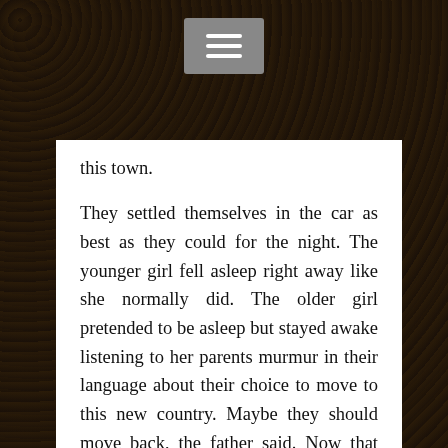this town.
They settled themselves in the car as best as they could for the night. The younger girl fell asleep right away like she normally did. The older girl pretended to be asleep but stayed awake listening to her parents murmur in their language about their choice to move to this new country. Maybe they should move back, the father said. Now that they were in the new country it wasn't as great as they'd been told. The people they lived among were poor, uneducated and quick to anger. It was not much different where they came from. But at least if they went back they could speak their language again, eat their foods, and not have to